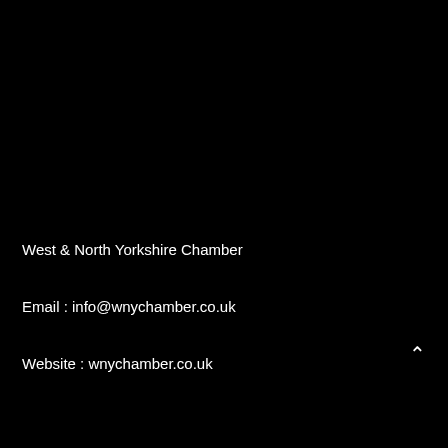West & North Yorkshire Chamber
Email : info@wnychamber.co.uk
Website : wnychamber.co.uk